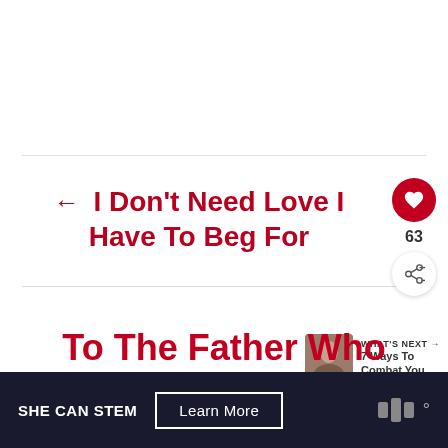← I Don't Need Love I Have To Beg For
63
WHAT'S NEXT → 7 Ways To Combat You...
To The Father Who
SHE CAN STEM  Learn More